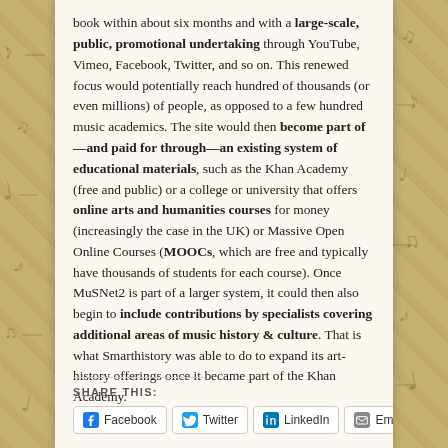book within about six months and with a large-scale, public, promotional undertaking through YouTube, Vimeo, Facebook, Twitter, and so on. This renewed focus would potentially reach hundred of thousands (or even millions) of people, as opposed to a few hundred music academics. The site would then become part of—and paid for through—an existing system of educational materials, such as the Khan Academy (free and public) or a college or university that offers online arts and humanities courses for money (increasingly the case in the UK) or Massive Open Online Courses (MOOCs, which are free and typically have thousands of students for each course). Once MuSNet2 is part of a larger system, it could then also begin to include contributions by specialists covering additional areas of music history & culture. That is what Smarthistory was able to do to expand its art-history offerings once it became part of the Khan Academy.
SHARE THIS:
Facebook
Twitter
LinkedIn
Email